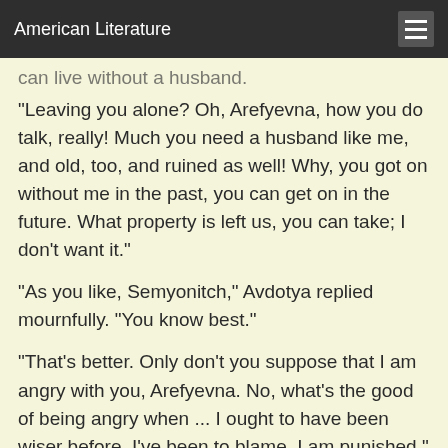American Literature
can live without a husband.
"Leaving you alone? Oh, Arefyevna, how you do talk, really! Much you need a husband like me, and old, too, and ruined as well! Why, you got on without me in the past, you can get on in the future. What property is left us, you can take; I don't want it."
"As you like, Semyonitch," Avdotya replied mournfully. "You know best."
"That's better. Only don't you suppose that I am angry with you, Arefyevna. No, what's the good of being angry when ... I ought to have been wiser before. I've been to blame. I am punished." (Akim